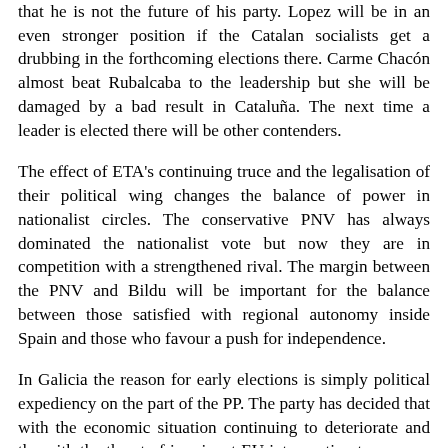that he is not the future of his party. Lopez will be in an even stronger position if the Catalan socialists get a drubbing in the forthcoming elections there. Carme Chacón almost beat Rubalcaba to the leadership but she will be damaged by a bad result in Cataluña. The next time a leader is elected there will be other contenders.
The effect of ETA's continuing truce and the legalisation of their political wing changes the balance of power in nationalist circles. The conservative PNV has always dominated the nationalist vote but now they are in competition with a strengthened rival. The margin between the PNV and Bildu will be important for the balance between those satisfied with regional autonomy inside Spain and those who favour a push for independence.
In Galicia the reason for early elections is simply political expediency on the part of the PP. The party has decided that with the economic situation continuing to deteriorate and the with the threat of imminent EU intervention to prop up Spain's finances, there is less political cost in bringing the elections forward. The PP may even conserve their majority in the Galician parliament, the PSOE shows little sign...